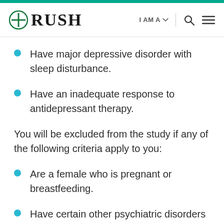RUSH | I AM A | Search | Menu
Have major depressive disorder with sleep disturbance.
Have an inadequate response to antidepressant therapy.
You will be excluded from the study if any of the following criteria apply to you:
Are a female who is pregnant or breastfeeding.
Have certain other psychiatric disorders or unstable medical conditions.